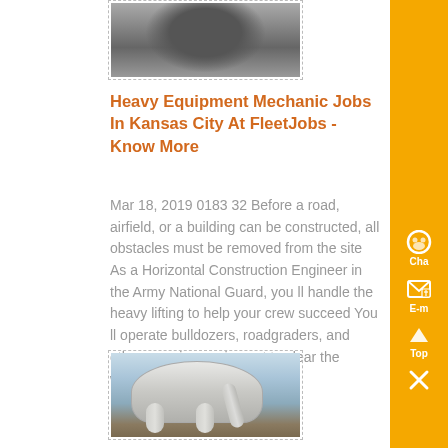[Figure (photo): Top photo showing a partially visible person or figure, with grayscale tones]
Heavy Equipment Mechanic Jobs In Kansas City At FleetJobs - Know More
Mar 18, 2019 0183 32 Before a road, airfield, or a building can be constructed, all obstacles must be removed from the site As a Horizontal Construction Engineer in the Army National Guard, you ll handle the heavy lifting to help your crew succeed You ll operate bulldozers, roadgraders, and other massive equipment to clear the way....
[Figure (photo): Industrial heavy equipment photo showing large cylindrical tanks and pipes at a construction or industrial site]
[Figure (illustration): Sidebar with golden/yellow background containing chat, email, top, and close icons]